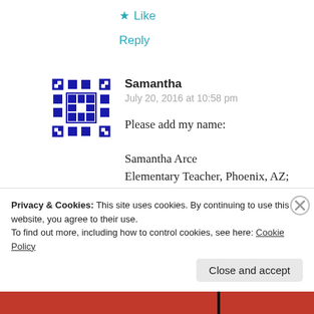★ Like
Reply
[Figure (illustration): Blue pixel/geometric avatar icon for user Samantha]
Samantha
July 20, 2016 at 10:58 pm
Please add my name:

Samantha Arce
Elementary Teacher, Phoenix, AZ;
Graduate Student at University of Washington
Privacy & Cookies: This site uses cookies. By continuing to use this website, you agree to their use.
To find out more, including how to control cookies, see here: Cookie Policy
Close and accept